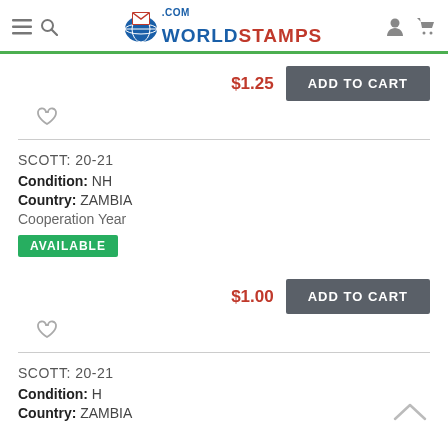WorldStamps.com
$1.25  ADD TO CART
SCOTT: 20-21
Condition: NH
Country: ZAMBIA
Cooperation Year
AVAILABLE
$1.00  ADD TO CART
SCOTT: 20-21
Condition: H
Country: ZAMBIA